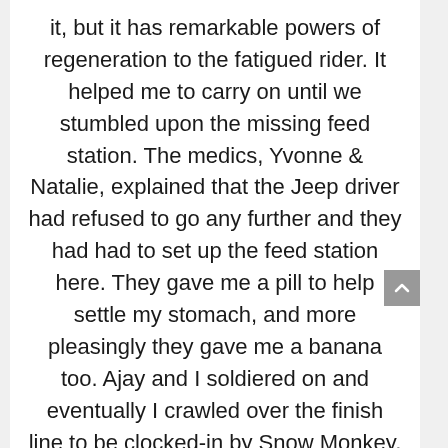it, but it has remarkable powers of regeneration to the fatigued rider. It helped me to carry on until we stumbled upon the missing feed station. The medics, Yvonne & Natalie, explained that the Jeep driver had refused to go any further and they had had to set up the feed station here. They gave me a pill to help settle my stomach, and more pleasingly they gave me a banana too. Ajay and I soldiered on and eventually I crawled over the finish line to be clocked-in by Snow Monkey, the timekeeper (Mukhiya Gurung). 5h 11m 16s of digging deep. And remarkably it was still faster